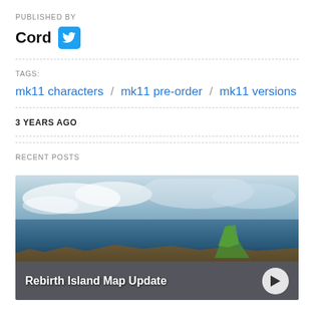PUBLISHED BY
Cord
TAGS:
mk11 characters / mk11 pre-order / mk11 versions
3 YEARS AGO
RECENT POSTS
[Figure (photo): Rebirth Island Map Update - outdoor scene with sky, water, rocky island with green terrain, dark overlay at bottom with title text and play button]